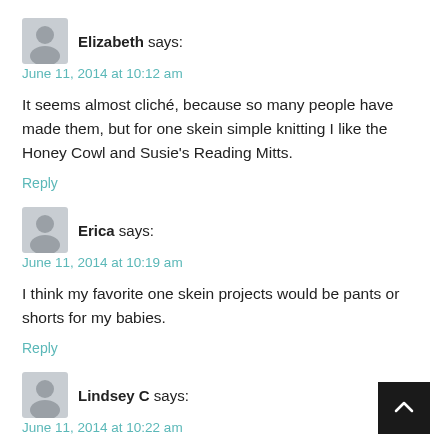Elizabeth says:
June 11, 2014 at 10:12 am
It seems almost cliché, because so many people have made them, but for one skein simple knitting I like the Honey Cowl and Susie's Reading Mitts.
Reply
Erica says:
June 11, 2014 at 10:19 am
I think my favorite one skein projects would be pants or shorts for my babies.
Reply
Lindsey C says:
June 11, 2014 at 10:22 am